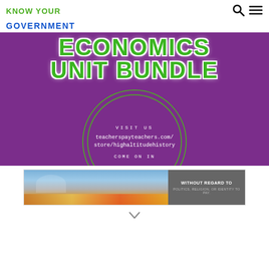KNOW YOUR
GOVERNMENT
[Figure (illustration): Purple banner image for an Economics Unit Bundle educational resource, featuring bold green text reading 'ECONOMICS UNIT BUNDLE' at the top, and a circular decorative element in the center with text: 'VISIT US teacherspayteachers.com/store/highaltitudehistory COME ON IN']
[Figure (photo): Advertisement banner showing an airplane being loaded with cargo on the tarmac, with a dark gray box on the right reading 'WITHOUT REGARD TO POLITICS, RELIGION, OR IDENTITY TO PAY.']